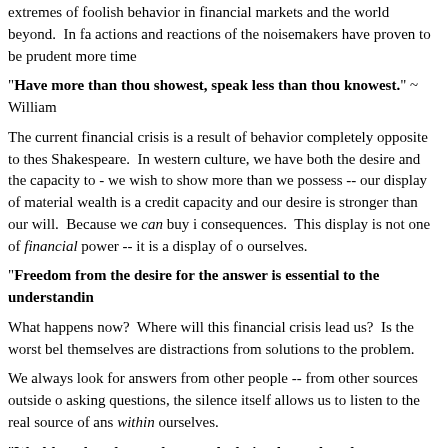extremes of foolish behavior in financial markets and the world beyond.  In fa actions and reactions of the noisemakers have proven to be prudent more time
"Have more than thou showest, speak less than thou knowest." ~ William
The current financial crisis is a result of behavior completely opposite to thes Shakespeare.  In western culture, we have both the desire and the capacity to - we wish to show more than we possess -- our display of material wealth is a credit capacity and our desire is stronger than our will.  Because we can buy i consequences.  This display is not one of financial power -- it is a display of c ourselves.
"Freedom from the desire for the answer is essential to the understandin
What happens now?  Where will this financial crisis lead us?  Is the worst bel themselves are distractions from solutions to the problem.
We always look for answers from other people -- from other sources outside o asking questions, the silence itself allows us to listen to the real source of ans within ourselves.
"Wealth and rank are what people desire, but unless they are obtained in may not be possessed." ~ Confucius